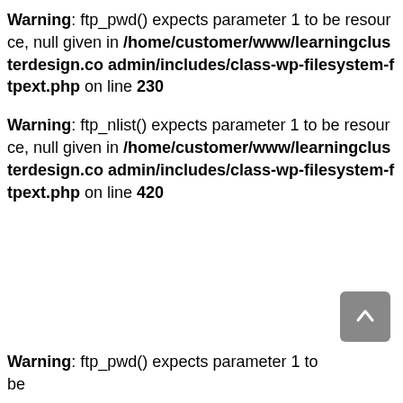Warning: ftp_pwd() expects parameter 1 to be resource, null given in /home/customer/www/learningclusterdesign.co admin/includes/class-wp-filesystem-ftpext.php on line 230
Warning: ftp_nlist() expects parameter 1 to be resource, null given in /home/customer/www/learningclusterdesign.co admin/includes/class-wp-filesystem-ftpext.php on line 420
Warning: ftp_pwd() expects parameter 1 to be